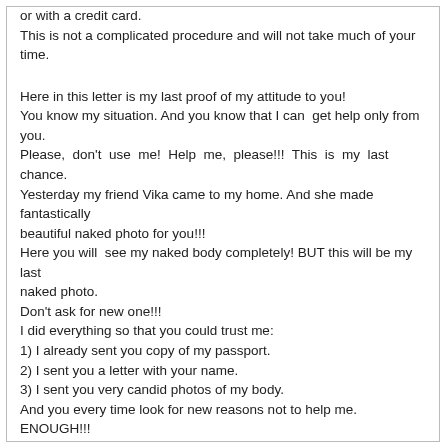or with a credit card.
This is not a complicated procedure and will not take much of your time.

Here in this letter is my last proof of my attitude to you!
You know my situation. And you know that I can get help only from you.
Please, don't use me! Help me, please!!! This is my last chance.
Yesterday my friend Vika came to my home. And she made fantastically beautiful naked photo for you!!!
Here you will see my naked body completely! BUT this will be my last naked photo.
Don't ask for new one!!!
I did everything so that you could trust me:
1) I already sent you copy of my passport.
2) I sent you a letter with your name.
3) I sent you very candid photos of my body.
And you every time look for new reasons not to help me. ENOUGH!!!
Now I will know for sure, do you want me or not?!
If you deny me or look for a new reason, I will take it as a